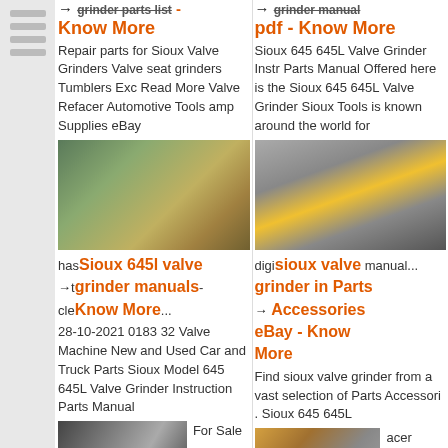[Figure (screenshot): Sidebar with gray horizontal lines/bars on left side]
→ grinder parts list - Know More
Repair parts for Sioux Valve Grinders Valve seat grinders Tumblers Exc Read More Valve Refacer Automotive Tools amp Supplies eBay
[Figure (photo): Factory workers near grinding machinery]
has Sioux 645l valve grinder manuals- Know More...
→
Sioux 645l valve grinder manuals - Know More
28-10-2021 0183 32 Valve Machine New and Used Car and Truck Parts Sioux Model 645 645L Valve Grinder Instruction Parts Manual
[Figure (photo): Close-up of valve grinder tool]
For Sale - O/T Need alve
→ grinder manual pdf - Know More
Sioux 645 645L Valve Grinder Instr Parts Manual Offered here is the Sioux 645 645L Valve Grinder Sioux Tools is known around the world for
[Figure (photo): Close-up of valve grinder machine with cups]
digital copy valve manual...
sioux valve grinder in Parts Accessories eBay - Know More
Find sioux valve grinder from a vast selection of Parts Accessori . Sioux 645 645L
[Figure (photo): Worker with grinding equipment]
acer anual New ux 682